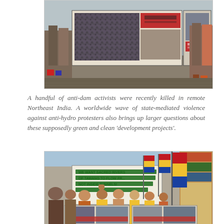[Figure (photo): Protest scene showing people holding large banners with images and text, standing on a street. Protesters visible in the background holding signs related to anti-dam activism.]
A handful of anti-dam activists were recently killed in remote Northeast India. A worldwide wave of state-mediated violence against anti-hydro protesters also brings up larger questions about these supposedly green and clean 'development projects'.
[Figure (photo): Protest rally with people holding flags in yellow, red and blue (Tibetan Buddhist colors) and a banner reading 'WE WANT SACRED RIVERS OF TAWANG TO FLOW FREE NOT INSIDE TUNNELS!' People chanting and raising fists, monk in red robes visible. Additional protest banners with images visible in foreground.]